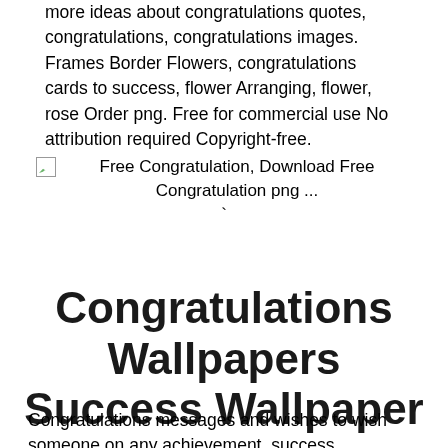more ideas about congratulations quotes, congratulations, congratulations images. Frames Border Flowers, congratulations cards to success, flower Arranging, flower, rose Order png. Free for commercial use No attribution required Copyright-free.
[Figure (photo): Broken image placeholder with caption: Free Congratulation, Download Free Congratulation png ...]
Congratulations Wallpapers Success Wallpaper
Congratulations messages and wishes to wish someone on any achievement, success, promotion